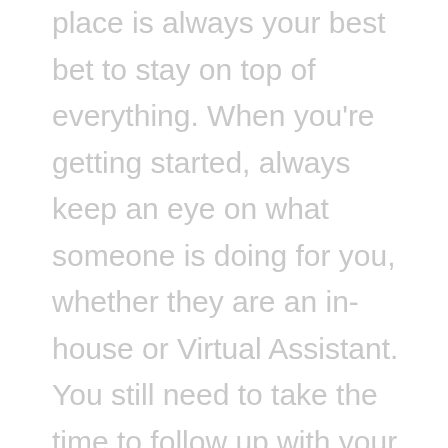place is always your best bet to stay on top of everything. When you're getting started, always keep an eye on what someone is doing for you, whether they are an in-house or Virtual Assistant. You still need to take the time to follow up with your VA just like you would an employee in your office. If you're allowing someone to use your credit card to make purchases, keep track of your card activity. If you're allowing someone to post content on social media, make sure you're monitoring what they're posting.
If something doesn't seem right or seems out of line, bring it to their attention immediately. Taking the time in the